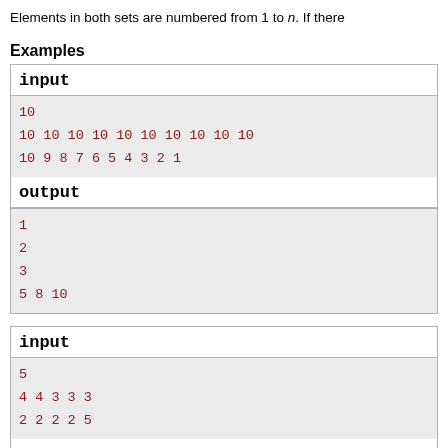Elements in both sets are numbered from 1 to n. If there
Examples
| input |
| --- |
| 10
10 10 10 10 10 10 10 10 10 10
10 9 8 7 6 5 4 3 2 1 |
| output |
| --- |
| 1
2
3
5 8 10 |
| input |
| --- |
| 5
4 4 3 3 3
2 2 2 2 5 |
| output |
| --- |
|  |